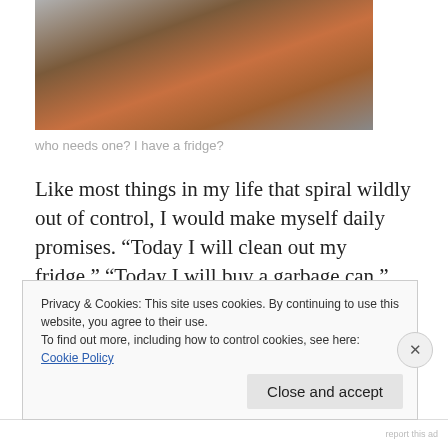[Figure (photo): Overhead photo of food items on a striped surface, partial view cropped at top]
who needs one? I have a fridge?
Like most things in my life that spiral wildly out of control, I would make myself daily promises. “Today I will clean out my fridge.” “Today I will buy a garbage can.” “Today I will pay off my creditors.” However, as day slowly ebbs into night, thoughts would change to things like, “if I leave the remains of this microwave dinner on the counter the cats
Privacy & Cookies: This site uses cookies. By continuing to use this website, you agree to their use.
To find out more, including how to control cookies, see here: Cookie Policy